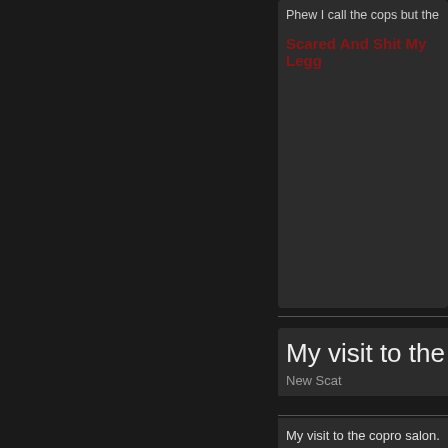Phew I call the cops but the
Scared And Shit My Legg
My visit to the cop
New Scat
My visit to the copro salon. I toilet. I also had decided to i office. In the reception room that girls would subject to m wanted to use me as toilet.